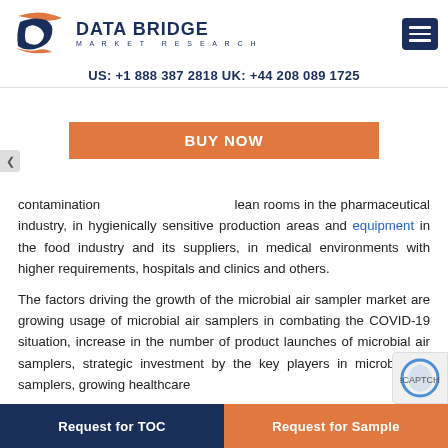DATA BRIDGE MARKET RESEARCH
US: +1 888 387 2818 UK: +44 208 089 1725
contamination … clean rooms in the pharmaceutical industry, in hygienically sensitive production areas and equipment in the food industry and its suppliers, in medical environments with higher requirements, hospitals and clinics and others.
The factors driving the growth of the microbial air sampler market are growing usage of microbial air samplers in combating the COVID-19 situation, increase in the number of product launches of microbial air samplers, strategic investment by the key players in microbial air samplers, growing healthcare …
Request for TOC | Request for Sample